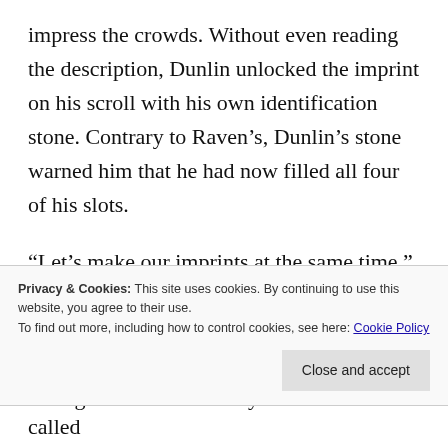impress the crowds. Without even reading the description, Dunlin unlocked the imprint on his scroll with his own identification stone. Contrary to Raven's, Dunlin's stone warned him that he had now filled all four of his slots.
“Let’s make our imprints at the same time,” said Dunlin still smirking, “and if I haven’t mastered this skill within a month I will declare it your win!” His words echoed through the hall and many of the
Privacy & Cookies: This site uses cookies. By continuing to use this website, you agree to their use. To find out more, including how to control cookies, see here: Cookie Policy
Close and accept
“That’s a true Advanced Student for you!” called